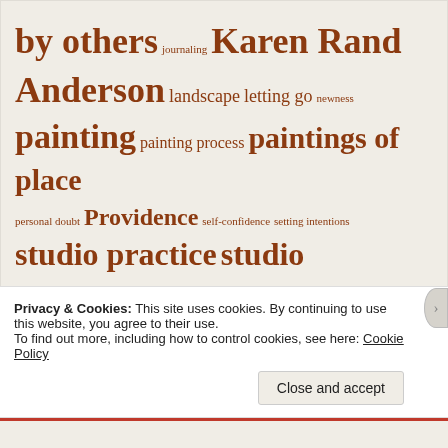[Figure (infographic): Tag cloud with terms in varying sizes in brown/rust color: 'by others', 'journaling', 'Karen Rand Anderson', 'landscape', 'letting go', 'newness', 'painting', 'painting process', 'paintings of place', 'personal doubt', 'Providence', 'self-confidence', 'setting intentions', 'studio practice', 'studio work', 'Tom Deininger', 'trash art', 'tribe', 'women artists']
Categories
Privacy & Cookies: This site uses cookies. By continuing to use this website, you agree to their use.
To find out more, including how to control cookies, see here: Cookie Policy
Close and accept